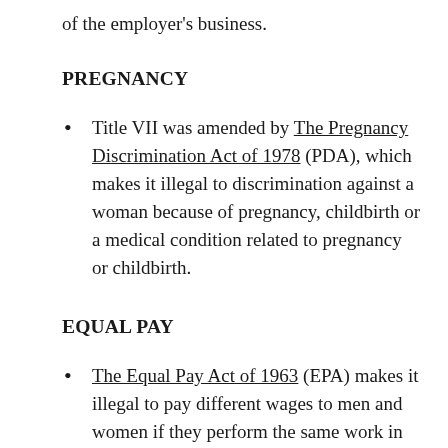of the employer's business.
PREGNANCY
Title VII was amended by The Pregnancy Discrimination Act of 1978 (PDA), which makes it illegal to discrimination against a woman because of pregnancy, childbirth or a medical condition related to pregnancy or childbirth.
EQUAL PAY
The Equal Pay Act of 1963 (EPA) makes it illegal to pay different wages to men and women if they perform the same work in the